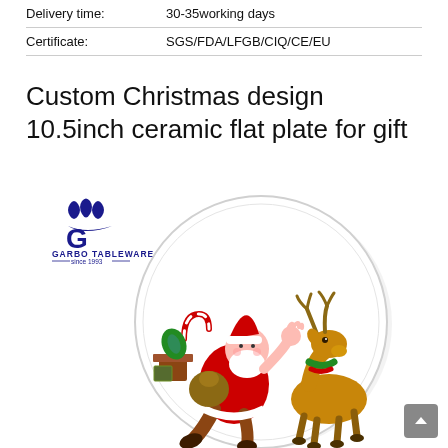| Delivery time: | 30-35working days |
| Certificate: | SGS/FDA/LFGB/CIQ/CE/EU |
Custom Christmas design 10.5inch ceramic flat plate for gift
[Figure (logo): Garbo Tableware logo with stylized flame/wave icon in dark blue and text 'GARBO TABLEWARE — since 1993 —']
[Figure (photo): A white ceramic flat plate featuring a Christmas design with Santa Claus falling/sitting and a reindeer standing beside him, along with Christmas presents and candy canes]